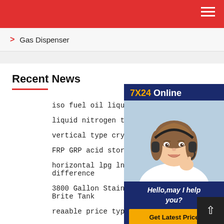Navigation bar with hamburger menu
> Gas Dispenser
Recent News
iso fuel oil liquid 20feet 40feet to
liquid nitrogen tank cryogenic 15
vertical type cryogenic liquid co2
FRP GRP acid storage Tank frp vs grp
horizontal lpg lng tank inlng lpg difference
3800 Gallon Stainless Steel Jacketed Brite Tank
reaable price type 4 cng tanks
[Figure (photo): 7X24 Online customer service widget with a woman wearing a headset, text 'Hello, may I help you?' and a 'Get Latest Price' button]